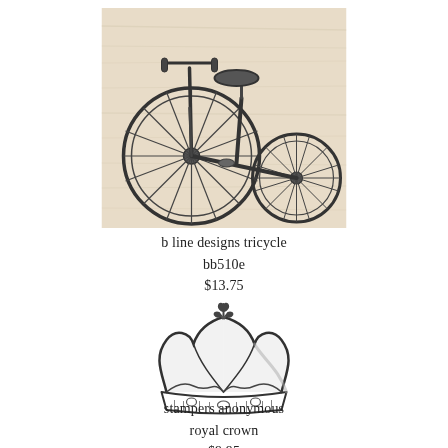[Figure (illustration): Detailed pencil/ink illustration of a vintage tricycle on a light wood-tone background, showing large front wheel with spokes, two smaller rear wheels, handlebars, and seat.]
b line designs tricycle
bb510e
$13.75
[Figure (illustration): Detailed ink illustration of an ornate royal crown with fleur-de-lis finial, decorative arches, and jeweled band on white background.]
stampers anonymous
royal crown
$9.95